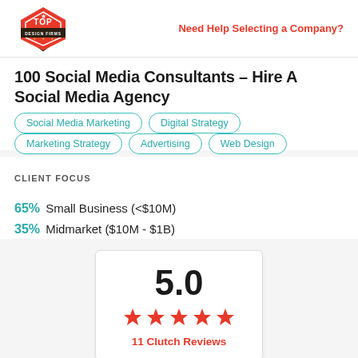Need Help Selecting a Company?
100 Social Media Consultants – Hire A Social Media Agency
Social Media Marketing
Digital Strategy
Marketing Strategy
Advertising
Web Design
CLIENT FOCUS
65% Small Business (<$10M)
35% Midmarket ($10M - $1B)
[Figure (other): Rating card showing 5.0 score with 5 red stars and 11 Clutch Reviews]